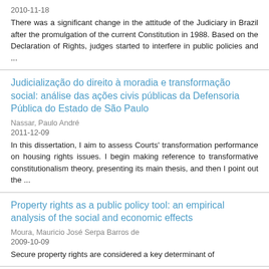2010-11-18
There was a significant change in the attitude of the Judiciary in Brazil after the promulgation of the current Constitution in 1988. Based on the Declaration of Rights, judges started to interfere in public policies and ...
Judicialização do direito à moradia e transformação social: análise das ações civis públicas da Defensoria Pública do Estado de São Paulo
Nassar, Paulo André
2011-12-09
In this dissertation, I aim to assess Courts' transformation performance on housing rights issues. I begin making reference to transformative constitutionalism theory, presenting its main thesis, and then I point out the ...
Property rights as a public policy tool: an empirical analysis of the social and economic effects
Moura, Mauricio José Serpa Barros de
2009-10-09
Secure property rights are considered a key determinant of